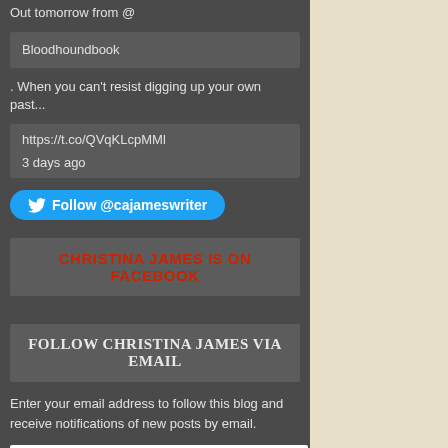Out tomorrow from @
Bloodhoundbook
. When you can't resist digging up your own past...
https://t.co/QVqKLcpMMl

3 days ago
Follow @cajameswriter
CHRISTINA JAMES IS ON FACEBOOK
FOLLOW CHRISTINA JAMES VIA EMAIL
Enter your email address to follow this blog and receive notifications of new posts by email.
Email Address